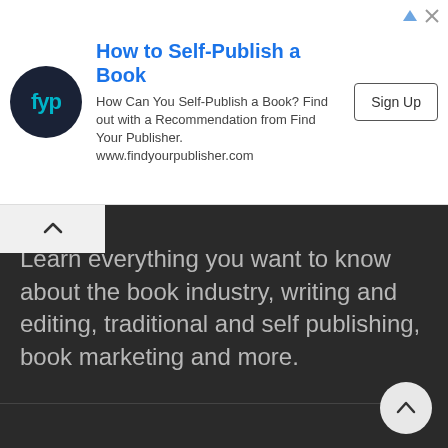[Figure (other): Advertisement banner: FYP (Find Your Publisher) logo circle with 'fyp' text, headline 'How to Self-Publish a Book', description text, and Sign Up button]
How to Self-Publish a Book
How Can You Self-Publish a Book? Find out with a Recommendation from Find Your Publisher. www.findyourpublisher.com
Learn everything you want to know about the book industry, writing and editing, traditional and self publishing, book marketing and more.